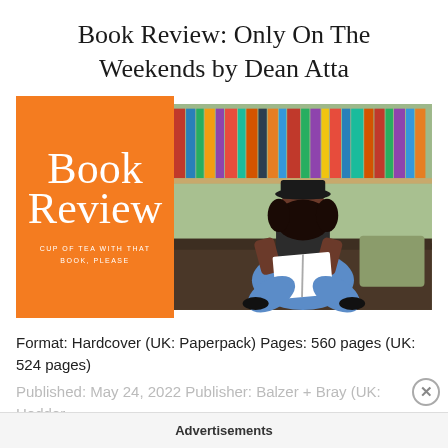Book Review: Only On The Weekends by Dean Atta
[Figure (illustration): Composite image: left half is an orange panel with decorative cursive text 'Book Review' and tagline 'CUP OF TEA WITH THAT BOOK, PLEASE'; right half is a photo of a young Black woman wearing a black hat, sitting cross-legged on a dark brown leather couch in a bookstore/library, reading an open book, with bookshelves visible in the background.]
Format: Hardcover (UK: Paperpack) Pages: 560 pages (UK: 524 pages)
Published: May 24, 2022 Publisher: Balzer + Bray (UK: Hodder
Advertisements